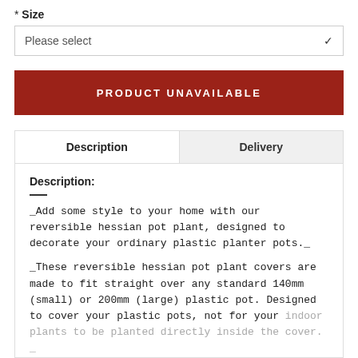* Size
Please select
PRODUCT UNAVAILABLE
| Description | Delivery |
| --- | --- |
Description:
_Add some style to your home with our reversible hessian pot plant, designed to decorate your ordinary plastic planter pots._
_These reversible hessian pot plant covers are made to fit straight over any standard 140mm (small) or 200mm (large) plastic pot. Designed to cover your plastic pots, not for your indoor plants to be planted directly inside the cover. _